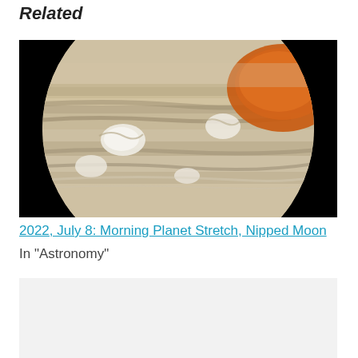Related
[Figure (photo): Close-up photograph of Jupiter taken by the Juno spacecraft, showing the planet's swirling cloud bands in tan and cream colors, with a prominent orange storm system (Great Red Spot area) visible at upper right, and white oval storms. The planet is set against a black background.]
2022, July 8: Morning Planet Stretch, Nipped Moon
In "Astronomy"
[Figure (photo): Gray/light placeholder card for a second related article image, partially visible at bottom of page.]